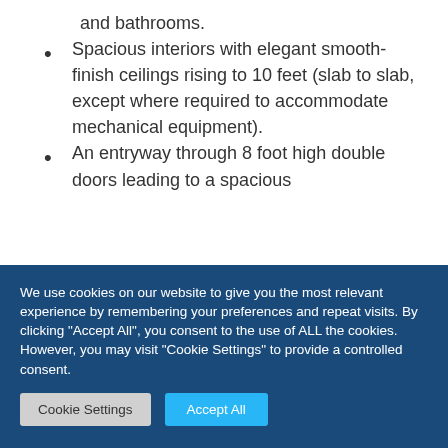and bathrooms.
Spacious interiors with elegant smooth-finish ceilings rising to 10 feet (slab to slab, except where required to accommodate mechanical equipment).
An entryway through 8 foot high double doors leading to a spacious
We use cookies on our website to give you the most relevant experience by remembering your preferences and repeat visits. By clicking "Accept All", you consent to the use of ALL the cookies. However, you may visit "Cookie Settings" to provide a controlled consent.